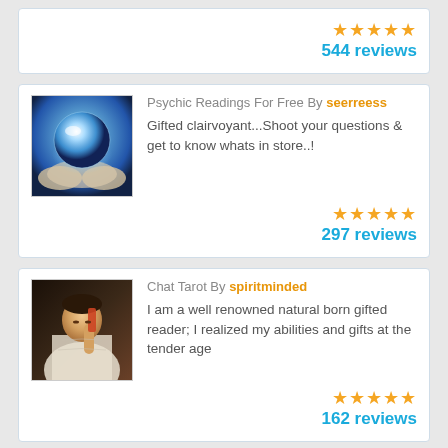[Figure (screenshot): Partial top card showing only star rating and review count of 544 reviews]
544 reviews
[Figure (photo): Crystal ball held in hands, glowing blue light]
Psychic Readings For Free By seerreess
Gifted clairvoyant...Shoot your questions & get to know whats in store..!
297 reviews
[Figure (photo): Person in white robe holding a phone or object to their face]
Chat Tarot By spiritminded
I am a well renowned natural born gifted reader; I realized my abilities and gifts at the tender age
162 reviews